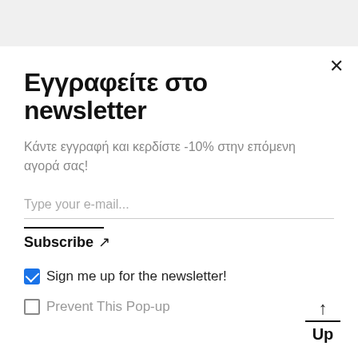Εγγραφείτε στο newsletter
Κάντε εγγραφή και κερδίστε -10% στην επόμενη αγορά σας!
Type your e-mail...
Subscribe ↗
Sign me up for the newsletter!
Prevent This Pop-up